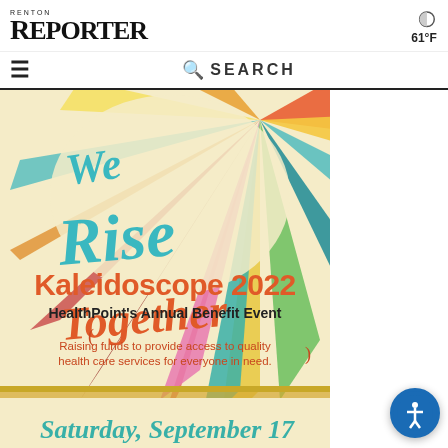RENTON REPORTER   61°F
☰  🔍 SEARCH
[Figure (illustration): Kaleidoscope 2022 HealthPoint Annual Benefit Event flyer with colorful sunburst design and script text reading 'We Rise Together'. Cream/beige background with orange title 'Kaleidoscope 2022', dark red subtitle 'HealthPoint's Annual Benefit Event', and orange text in parentheses 'Raising funds to provide access to quality health care services for everyone in need.' Bottom teal/green wave border and partial teal script 'Saturday, September 17'.]